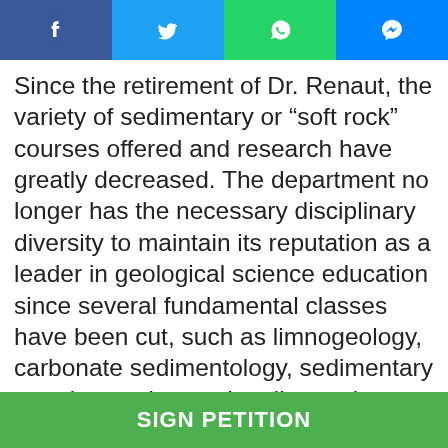[Figure (other): Social media sharing bar with Facebook, Twitter, WhatsApp, and Messenger buttons]
Since the retirement of Dr. Renaut, the variety of sedimentary or “soft rock” courses offered and research have greatly decreased. The department no longer has the necessary disciplinary diversity to maintain its reputation as a leader in geological science education since several fundamental classes have been cut, such as limnogeology, carbonate sedimentology, sedimentary petrology, advanced sedimentology, and basin analysis. Approximately 50 percent of geology undergraduates pursue an informal specialization in petroleum geology and are now at a significant disadvantage for remaining competitive in both industry and academics and in acquiring jobs once they graduate.
SIGN PETITION